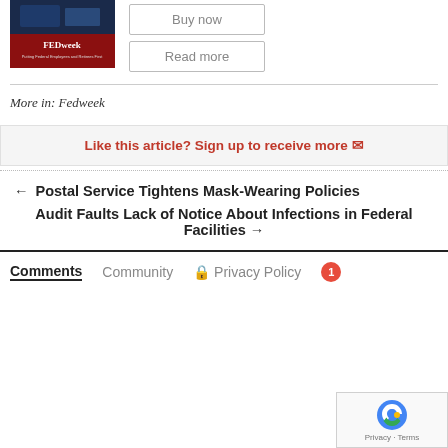[Figure (photo): FEDweek book cover with dark red/maroon background and FEDweek branding]
Buy now
Read more
More in: Fedweek
Like this article? Sign up to receive more
← Postal Service Tightens Mask-Wearing Policies
Audit Faults Lack of Notice About Infections in Federal Facilities →
Comments  Community  🔒 Privacy Policy  1